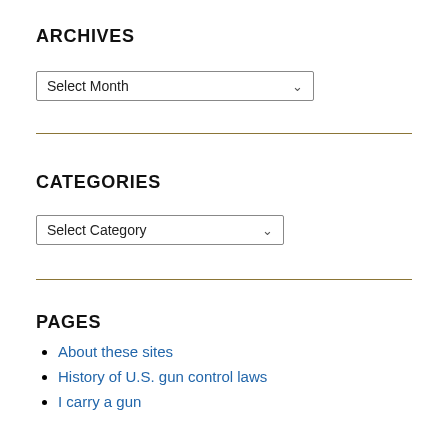ARCHIVES
Select Month
CATEGORIES
Select Category
PAGES
About these sites
History of U.S. gun control laws
I carry a gun